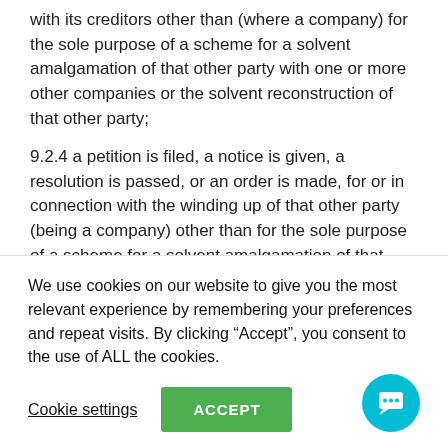with its creditors other than (where a company) for the sole purpose of a scheme for a solvent amalgamation of that other party with one or more other companies or the solvent reconstruction of that other party;
9.2.4 a petition is filed, a notice is given, a resolution is passed, or an order is made, for or in connection with the winding up of that other party (being a company) other than for the sole purpose of a scheme for a solvent amalgamation of that other party with one or more other companies or the solvent reconstruction of that other party;
We use cookies on our website to give you the most relevant experience by remembering your preferences and repeat visits. By clicking “Accept”, you consent to the use of ALL the cookies.
Cookie settings
ACCEPT